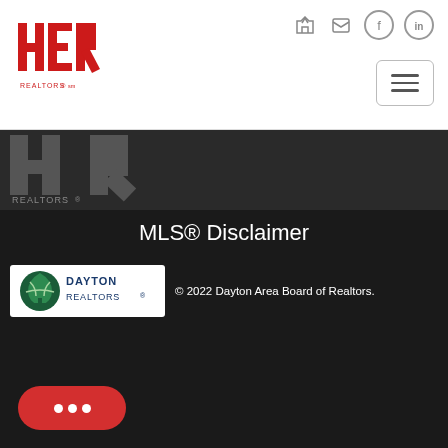[Figure (logo): HER REALTORS logo in red at top left of white navbar]
[Figure (logo): HER REALTORS partial logo in dark/black section below navbar]
MLS® Disclaimer
[Figure (logo): Dayton REALTORS® logo in white box]
© 2022 Dayton Area Board of Realtors. All rights reserved. Information deemed to be reliable but not guaranteed. The data relating to real estate for sale on this website comes from Dayton Area Board of Realtors and the Broker Reciprocity Program.sm. Real estate listings held by brokerage firms other than Powell are marked with the BR logo and information about them includes the name of the listing brokers. Listing broker has attempted to offer accurate data, but buyers are advised to Show More
[Figure (illustration): Red chat bubble button with three white dots at bottom left]